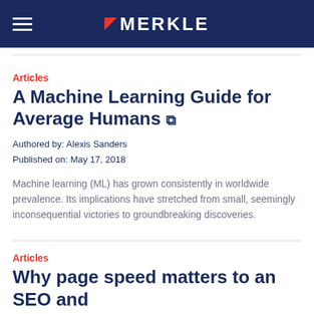MERKLE
Articles
A Machine Learning Guide for Average Humans
Authored by: Alexis Sanders
Published on: May 17, 2018
Machine learning (ML) has grown consistently in worldwide prevalence. Its implications have stretched from small, seemingly inconsequential victories to groundbreaking discoveries.
Articles
Why page speed matters to an SEO and